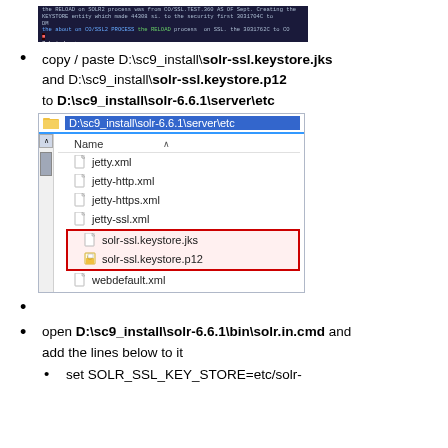[Figure (screenshot): Dark terminal/command prompt screenshot showing command output text]
copy / paste D:\sc9_install\solr-ssl.keystore.jks and D:\sc9_install\solr-ssl.keystore.p12 to D:\sc9_install\solr-6.6.1\server\etc
[Figure (screenshot): Windows Explorer window showing D:\sc9_install\solr-6.6.1\server\etc folder with files: jetty.xml, jetty-http.xml, jetty-https.xml, jetty-ssl.xml, solr-ssl.keystore.jks, solr-ssl.keystore.p12 (highlighted in red box), webdefault.xml]
open D:\sc9_install\solr-6.6.1\bin\solr.in.cmd and add the lines below to it
set SOLR_SSL_KEY_STORE=etc/solr-